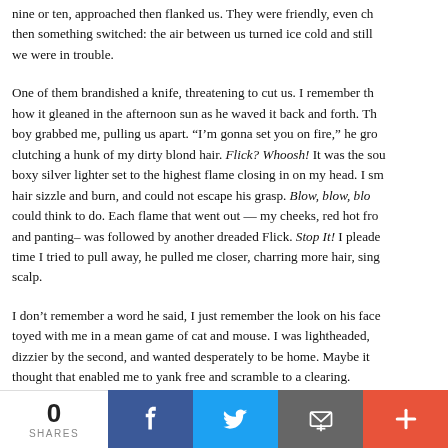nine or ten, approached then flanked us. They were friendly, even ch... then something switched: the air between us turned ice cold and still... we were in trouble.
One of them brandished a knife, threatening to cut us. I remember the how it gleaned in the afternoon sun as he waved it back and forth. Th... boy grabbed me, pulling us apart. “I’m gonna set you on fire,” he gro... clutching a hunk of my dirty blond hair. Flick? Whoosh! It was the sou... boxy silver lighter set to the highest flame closing in on my head. I sm... hair sizzle and burn, and could not escape his grasp. Blow, blow, blo... could think to do. Each flame that went out — my cheeks, red hot fro... and panting– was followed by another dreaded Flick. Stop It! I pleade... time I tried to pull away, he pulled me closer, charring more hair, sing... scalp.
I don’t remember a word he said, I just remember the look on his face... toyed with me in a mean game of cat and mouse. I was lightheaded,... dizzier by the second, and wanted desperately to be home. Maybe it... thought that enabled me to yank free and scramble to a clearing.
0 SHARES | Facebook | Twitter | Email | More